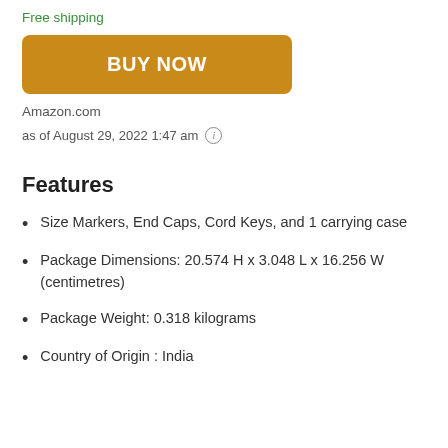Free shipping
[Figure (other): Orange 'BUY NOW' button]
Amazon.com
as of August 29, 2022 1:47 am (i)
Features
Size Markers, End Caps, Cord Keys, and 1 carrying case
Package Dimensions: 20.574 H x 3.048 L x 16.256 W (centimetres)
Package Weight: 0.318 kilograms
Country of Origin : India